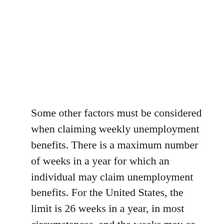Some other factors must be considered when claiming weekly unemployment benefits. There is a maximum number of weeks in a year for which an individual may claim unemployment benefits. For the United States, the limit is 26 weeks in a year, in most circumstances, and the weeks may or may not be consecutive. Note that governments and agencies have specific budgets allotted per individual and will rarely go below their